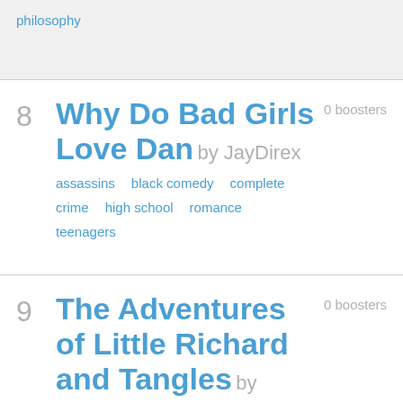philosophy
8 Why Do Bad Girls Love Dan by JayDirex — 0 boosters — tags: assassins, black comedy, complete, crime, high school, romance, teenagers
9 The Adventures of Little Richard and Tangles by Daniel Kilkelly — 0 boosters — His only reward is your family jewels.